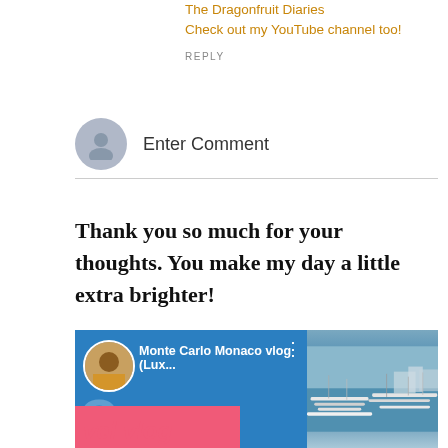The Dragonfruit Diaries
Check out my YouTube channel too!
REPLY
[Figure (screenshot): User avatar placeholder circle with Enter Comment label and horizontal rule]
Enter Comment
Thank you so much for your thoughts. You make my day a little extra brighter!
[Figure (screenshot): YouTube app screenshot showing Monte Carlo Monaco vlog thumbnail with channel avatar, blue background, marina photo on right, and 'vel vlog' text at bottom]